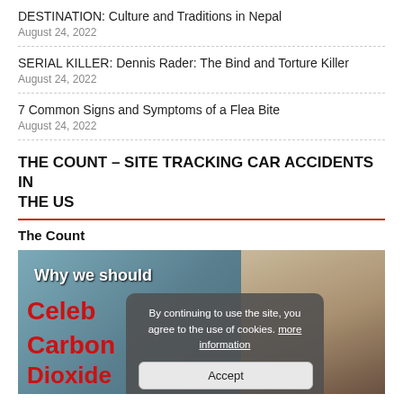DESTINATION: Culture and Traditions in Nepal
August 24, 2022
SERIAL KILLER: Dennis Rader: The Bind and Torture Killer
August 24, 2022
7 Common Signs and Symptoms of a Flea Bite
August 24, 2022
THE COUNT – SITE TRACKING CAR ACCIDENTS IN THE US
The Count
[Figure (photo): A screenshot of a website showing a man's face on the right side with a glacier/icy landscape background on the left. Red text reads 'Celeb', 'Carbon', 'Dioxide' and white text reads 'Why we should'. A cookie consent overlay popup is visible in the center showing 'By continuing to use the site, you agree to the use of cookies. more information' with an Accept button.]